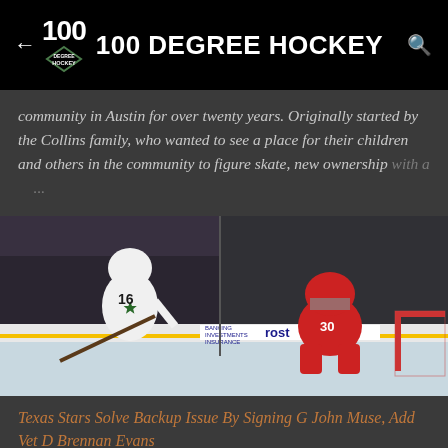100 DEGREE HOCKEY
community in Austin for over twenty years. Originally started by the Collins family, who wanted to see a place for their children and others in the community to figure skate, new ownership with a …
[Figure (photo): Hockey action photo: player #16 in Dallas Stars white/green jersey attempts a shot, while goalie #30 in red Carolina Hurricanes jersey defends the net. Frost bank advertising board visible. Split composite image showing arena crowd on right side.]
Texas Stars Solve Backup Issue By Signing G John Muse, Add Vet D Brennan Evans
Muse stymies Curtis McKenzie in a March 12, 2014 game between Charlotte and Texas. (Credit: Christina Shapiro/Texas Stars) The